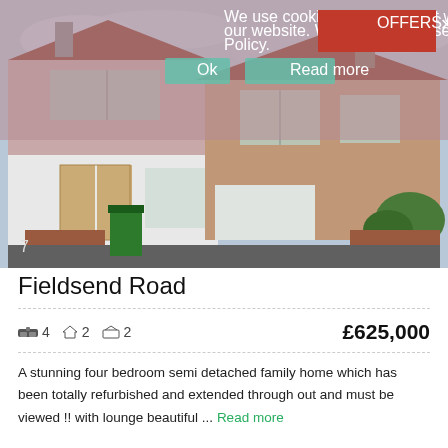[Figure (photo): Exterior photo of a semi-detached brick house with white rendered extension, wooden French doors, upstairs bay window, red tile roof, brick garden wall, green wheelie bin, and blue sky with clouds. Cookie consent overlay on top portion.]
We use cookies to ensure that we give you the best experience on our website. We explain the use of these cookies in our Privacy Policy.
OFFERS OVER
Fieldsend Road
🛏 4  🔑 2  🏠 2                    £625,000
A stunning four bedroom semi detached family home which has been totally refurbished and extended through out and must be viewed !! with lounge beautiful ... Read more